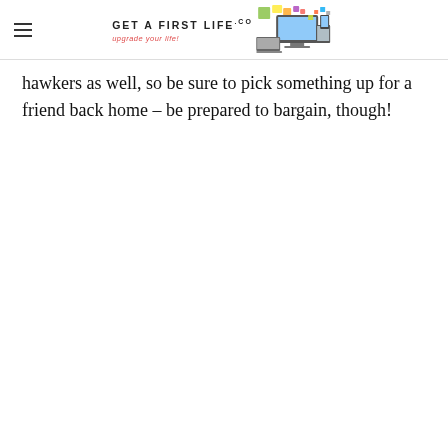Get A First Life — upgrade your life!
hawkers as well, so be sure to pick something up for a friend back home – be prepared to bargain, though!